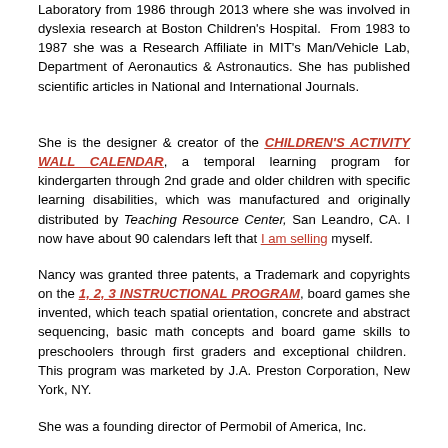Laboratory from 1986 through 2013 where she was involved in dyslexia research at Boston Children's Hospital. From 1983 to 1987 she was a Research Affiliate in MIT's Man/Vehicle Lab, Department of Aeronautics & Astronautics. She has published scientific articles in National and International Journals.
She is the designer & creator of the CHILDREN'S ACTIVITY WALL CALENDAR, a temporal learning program for kindergarten through 2nd grade and older children with specific learning disabilities, which was manufactured and originally distributed by Teaching Resource Center, San Leandro, CA. I now have about 90 calendars left that I am selling myself.
Nancy was granted three patents, a Trademark and copyrights on the 1, 2, 3 INSTRUCTIONAL PROGRAM, board games she invented, which teach spatial orientation, concrete and abstract sequencing, basic math concepts and board game skills to preschoolers through first graders and exceptional children. This program was marketed by J.A. Preston Corporation, New York, NY.
She was a founding director of Permobil of America, Inc. (formerly called Permobil USA) & was also its lobbyist...